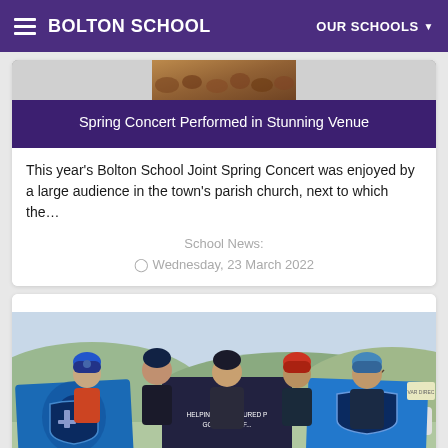BOLTON SCHOOL | OUR SCHOOLS
[Figure (photo): Partial cropped photo visible at top of Spring Concert card — audience or concert scene]
Spring Concert Performed in Stunning Venue
This year's Bolton School Joint Spring Concert was enjoyed by a large audience in the town's parish church, next to which the…
School News:
⊙ Wednesday, 23 March 2022
[Figure (photo): Five people standing outdoors holding large blue banners/flags with shield logos. People are wearing winter hats and coats. Text on banner reads 'HELPING OUR INJURED P... GO A LITTLE F...']